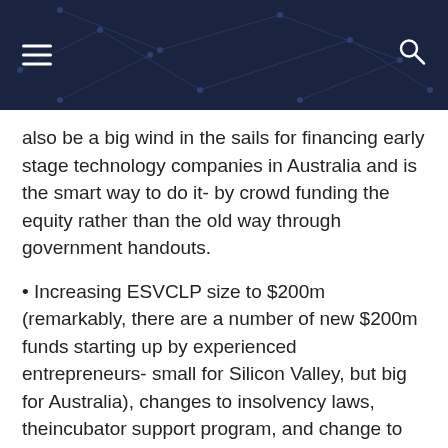InnovationAus.com — PUBLIC POLICY AND BUSINESS INNOVATION
also be a big wind in the sails for financing early stage technology companies in Australia and is the smart way to do it- by crowd funding the equity rather than the old way through government handouts.
• Increasing ESVCLP size to $200m (remarkably, there are a number of new $200m funds starting up by experienced entrepreneurs- small for Silicon Valley, but big for Australia), changes to insolvency laws, theincubator support program, and change to predominantly similar business test for accessing losses are all small changes but show that the right thinking is being applied to solving specific problems.